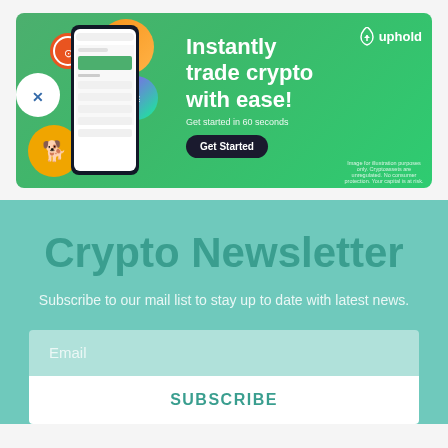[Figure (illustration): Uphold crypto trading platform advertisement banner with phone mockup, crypto coin icons, and green background. Text: 'Instantly trade crypto with ease! Get started in 60 seconds', Uphold logo, Get Started button. Disclaimer: 'Image for illustration purposes only. Cryptoassets are unregulated. No consumer protection. Your capital is at risk.']
Crypto Newsletter
Subscribe to our mail list to stay up to date with latest news.
Email
SUBSCRIBE